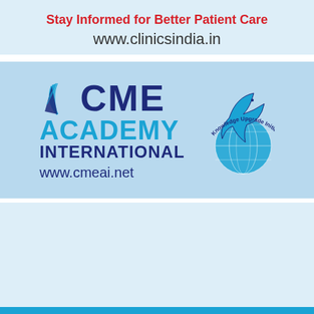Stay Informed for Better Patient Care
www.clinicsindia.in
[Figure (logo): CME Academy International logo with dolphin and globe graphic, tagline 'Knowledge Upgrade Initiative', and URL www.cmeai.net]